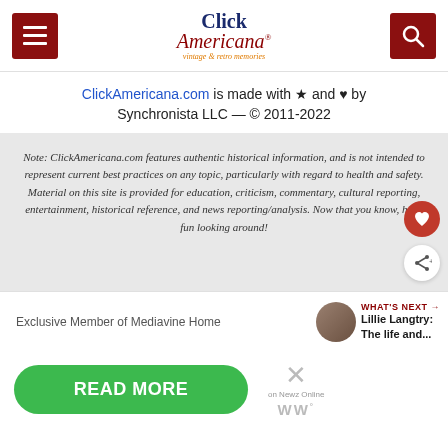Click Americana — vintage & retro memories
ClickAmericana.com is made with ★ and ♥ by Synchronista LLC — © 2011-2022
Note: ClickAmericana.com features authentic historical information, and is not intended to represent current best practices on any topic, particularly with regard to health and safety. Material on this site is provided for education, criticism, commentary, cultural reporting, entertainment, historical reference, and news reporting/analysis. Now that you know, have fun looking around!
Exclusive Member of Mediavine Home
WHAT'S NEXT → Lillie Langtry: The life and...
READ MORE